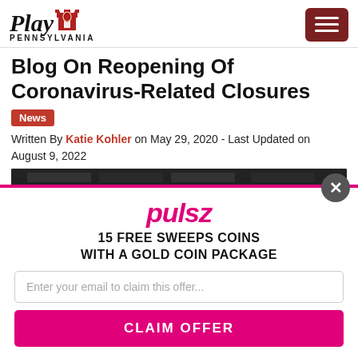Play Pennsylvania
Blog On Reopening Of Coronavirus-Related Closures
News
Written By Katie Kohler on May 29, 2020 - Last Updated on August 9, 2022
[Figure (photo): Dark photo of a building exterior with closed shutters]
pulsz
15 FREE SWEEPS COINS WITH A GOLD COIN PACKAGE
Enter your email to claim this offer...
CLAIM OFFER